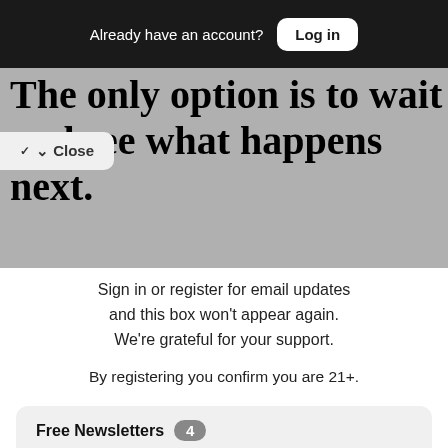Already have an account? Log in
The only option is to wait and see what happens next.
Close
Sign in or register for email updates and this box won't appear again. We're grateful for your support.
By registering you confirm you are 21+.
Free Newsletters 4
Bohemian Newsletter (weekly)